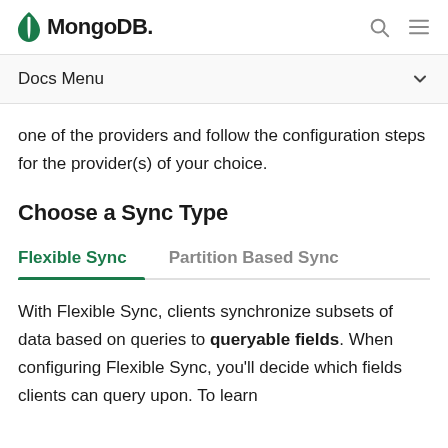MongoDB
Docs Menu
one of the providers and follow the configuration steps for the provider(s) of your choice.
Choose a Sync Type
Flexible Sync | Partition Based Sync
With Flexible Sync, clients synchronize subsets of data based on queries to queryable fields. When configuring Flexible Sync, you'll decide which fields clients can query upon. To learn